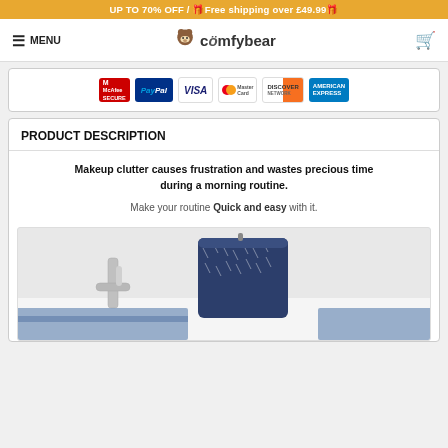UP TO 70% OFF / 🎁Free shipping over £49.99🎁
≡ MENU | comfybear [cart]
[Figure (logo): Payment security badges: McAfee Secure, PayPal, VISA, MasterCard, Discover Network, American Express]
PRODUCT DESCRIPTION
Makeup clutter causes frustration and wastes precious time during a morning routine.
Make your routine Quick and easy with it.
[Figure (photo): A navy blue patterned makeup travel bag hanging near a bathroom faucet with blue towels visible below]